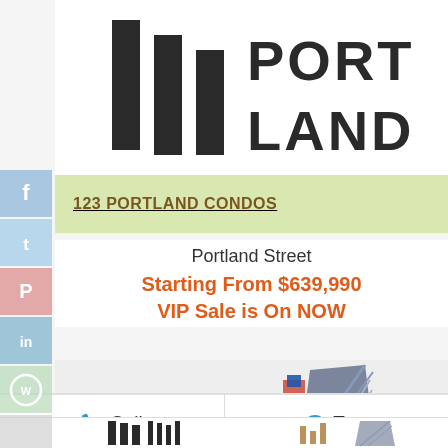[Figure (logo): Portland condos logo — three vertical black bars followed by PORTLAND text in two lines: 'PORT' and 'LAND']
123 PORTLAND CONDOS
Portland Street
Starting From $639,990
VIP Sale is On NOW
[Figure (illustration): Building illustration with diagonal striped facade and green circle element]
Call
Text